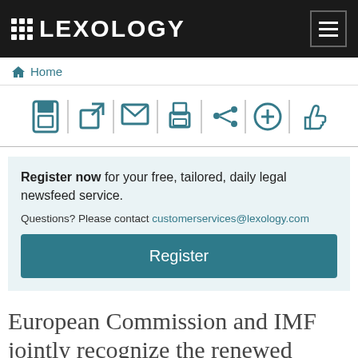LEXOLOGY
Home
[Figure (screenshot): Toolbar with icons: save, external link, email, print, share, add, thumbs up]
Register now for your free, tailored, daily legal newsfeed service. Questions? Please contact customerservices@lexology.com
Register
European Commission and IMF jointly recognize the renewed commitments of Romania's